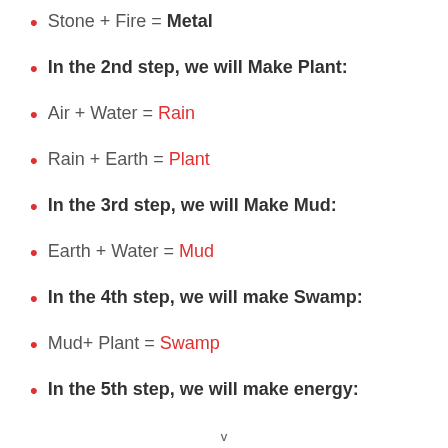Stone + Fire = Metal
In the 2nd step, we will Make Plant:
Air + Water = Rain
Rain + Earth = Plant
In the 3rd step, we will Make Mud:
Earth + Water = Mud
In the 4th step, we will make Swamp:
Mud+ Plant = Swamp
In the 5th step, we will make energy:
v